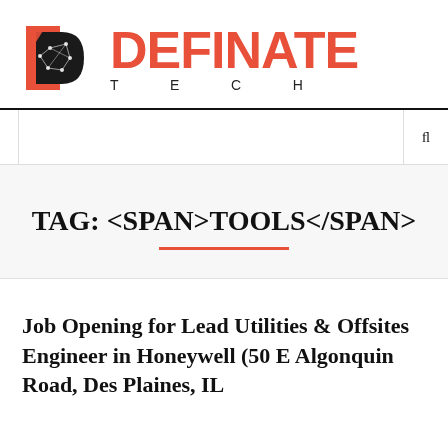[Figure (logo): Definate Tech logo with geometric diamond/D shape icon in black and red, and 'DEFINATE TECH' text in red]
TAG: <SPAN>TOOLS</SPAN>
Job Opening for Lead Utilities & Offsites Engineer in Honeywell (50 E Algonquin Road, Des Plaines, IL